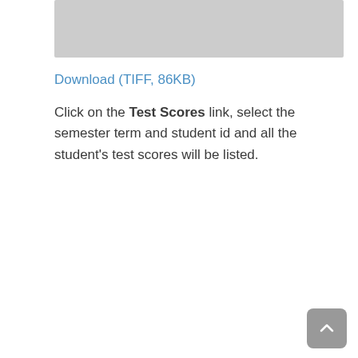[Figure (screenshot): Gray rectangular bar at top representing a screenshot or image placeholder]
Download (TIFF, 86KB)
Click on the Test Scores link, select the semester term and student id and all the student’s test scores will be listed.